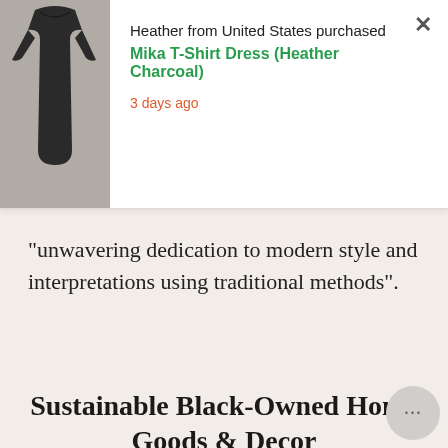[Figure (infographic): E-commerce purchase notification popup showing a charcoal dress image, text 'Heather from United States purchased Mika T-Shirt Dress (Heather Charcoal) 3 days ago', and an X close button on white background]
“unwavering dedication to modern style and interpretations using traditional methods”.
Sustainable Black-Owned Home Goods & Decor
[Figure (photo): Interior of a modern retail store with colorful yellow and blue shelving units displaying home goods and decor items]